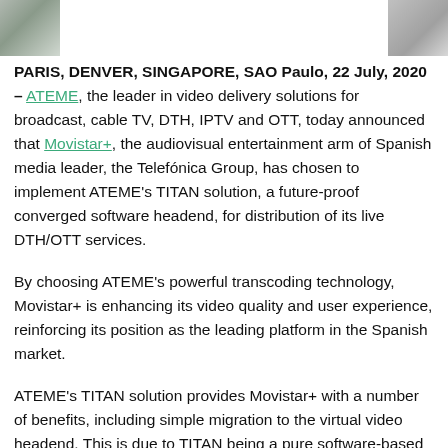[Figure (photo): Two cropped photo thumbnails at top corners of the page — a nature/person photo on the left and a grey image on the right.]
PARIS, DENVER, SINGAPORE, SAO Paulo, 22 July, 2020 – ATEME, the leader in video delivery solutions for broadcast, cable TV, DTH, IPTV and OTT, today announced that Movistar+, the audiovisual entertainment arm of Spanish media leader, the Telefónica Group, has chosen to implement ATEME's TITAN solution, a future-proof converged software headend, for distribution of its live DTH/OTT services.
By choosing ATEME's powerful transcoding technology, Movistar+ is enhancing its video quality and user experience, reinforcing its position as the leading platform in the Spanish market.
ATEME's TITAN solution provides Movistar+ with a number of benefits, including simple migration to the virtual video headend. This is due to TITAN being a pure software-based encoder that can run on any COTS or virtualized server leveraging the broad support of inputs/output formats and enabling customers to quickly deploy high quality live channels. TITAN also provides Movistar+ with outstanding bandwidth savings in MPEG-2 and